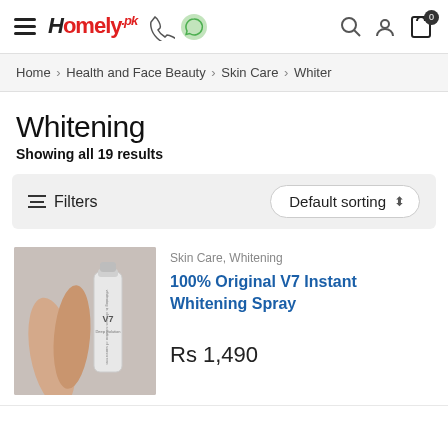Homely.pk header with navigation icons
Home > Health and Face Beauty > Skin Care > Whiten
Whitening
Showing all 19 results
Filters   Default sorting
[Figure (photo): Product image of V7 Instant Whitening Spray showing a spray bottle and a person's arms]
Skin Care, Whitening
100% Original V7 Instant Whitening Spray
Rs 1,490